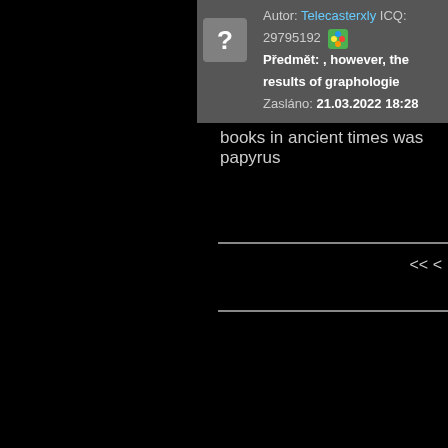Autor: Telecasterxly ICQ: 29795192 | Předmět: , however, the results of graphologie | Zasláno: 21.03.2022 18:28
books in ancient times was papyrus
<< <